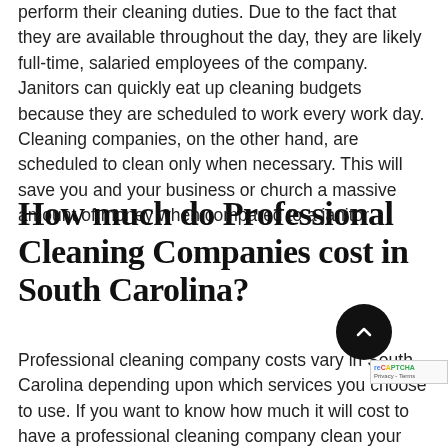perform their cleaning duties. Due to the fact that they are available throughout the day, they are likely full-time, salaried employees of the company. Janitors can quickly eat up cleaning budgets because they are scheduled to work every work day. Cleaning companies, on the other hand, are scheduled to clean only when necessary. This will save you and your business or church a massive amount of money when compared to a janitor.
How much do Professional Cleaning Companies cost in South Carolina?
Professional cleaning company costs vary in South Carolina depending upon which services you choose to use. If you want to know how much it will cost to have a professional cleaning company clean your business, church, or office in South Carolina, contact the friendly